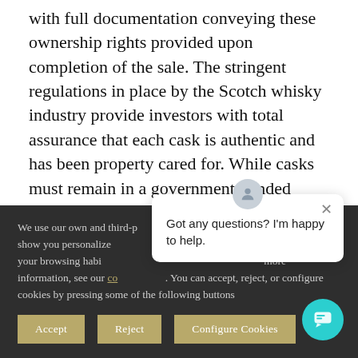with full documentation conveying these ownership rights provided upon completion of the sale. The stringent regulations in place by the Scotch whisky industry provide investors with total assurance that each cask is authentic and has been property cared for. While casks must remain in a government bonded warehouse until bottling, investors have complete control over their investment and can sell cask holdings at any time.
We use our own and third-p... and to show you personalize... up from your browsing habi... more information, see our co... configure cookies by pressing some of the following buttons
[Figure (other): Chat bubble popup with avatar icon saying 'Got any questions? I'm happy to help.' and a close X button]
Accept | Reject | Configure Cookies
[Figure (other): Teal circular chat button in bottom right corner]